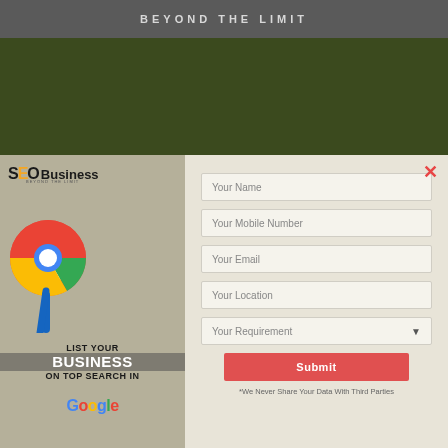BEYOND THE LIMIT
[Figure (screenshot): SEO Business popup modal with Google Chrome icon and 'List Your Business On Top Search In Google' text on the left panel, and a contact form with fields for Name, Mobile Number, Email, Location, Requirement on the right panel, along with a Submit button and privacy note]
*We Never Share Your Data With Third Parties
[Figure (infographic): Bottom bar with WhatsApp icon circle (green), an arrow shape, and Facebook Messenger circle (blue), plus a Contact label]